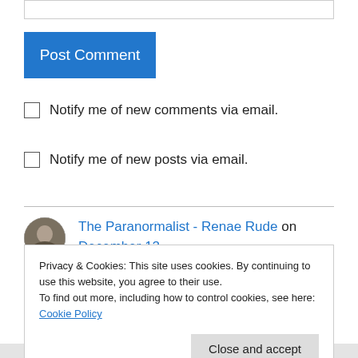[Figure (other): Text input bar at top of page]
Post Comment
Notify me of new comments via email.
Notify me of new posts via email.
The Paranormalist - Renae Rude on December 12, 2012 at 4:12 am
Another great piece, Anil. I was unaware that Ms
Privacy & Cookies: This site uses cookies. By continuing to use this website, you agree to their use.
To find out more, including how to control cookies, see here: Cookie Policy
Close and accept